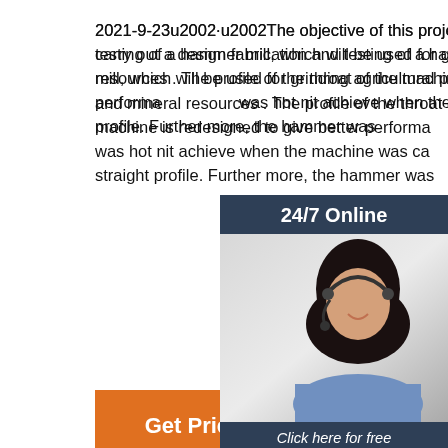2021-9-23u2002·u2002The objective of this project is to carry out a design fabrication and testing of a hammer mill, which will be used for grinding agricultural produce and mineral resources . The profile of the throat of the machine is redesigned to give better performance which was hot nit achieve when the machine was carried with a straight profile. Further more, the hammer was
[Figure (other): Get Price orange button]
[Figure (other): 24/7 Online chat widget with customer service representative photo, 'Click here for free chat!' text, and QUOTATION orange button]
[Figure (photo): Black and white industrial machinery photo showing large mechanical equipment structures with a gear logo at bottom and TOP label in orange at bottom right]